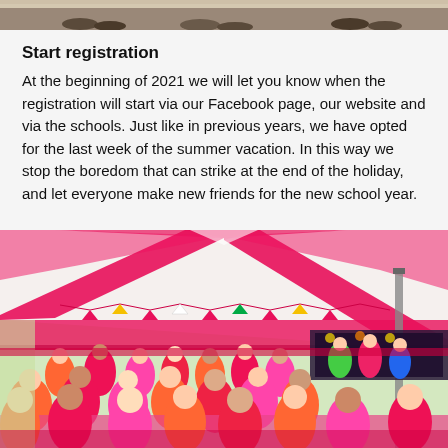[Figure (photo): Partial view of people's feet/shoes at an outdoor event, cropped at top of page]
Start registration
At the beginning of 2021 we will let you know when the registration will start via our Facebook page, our website and via the schools. Just like in previous years, we have opted for the last week of the summer vacation. In this way we stop the boredom that can strike at the end of the holiday, and let everyone make new friends for the new school year.
[Figure (photo): Interior of a large pink and white striped circus/event tent filled with children and adults wearing pink and orange shirts, with a stage visible at the far end]